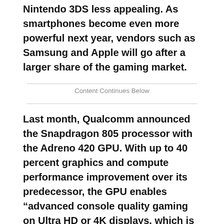Nintendo 3DS less appealing. As smartphones become even more powerful next year, vendors such as Samsung and Apple will go after a larger share of the gaming market.
Content Continues Below
Last month, Qualcomm announced the Snapdragon 805 processor with the Adreno 420 GPU. With up to 40 percent graphics and compute performance improvement over its predecessor, the GPU enables "advanced console quality gaming on Ultra HD or 4K displays, which is beyond what most consumers